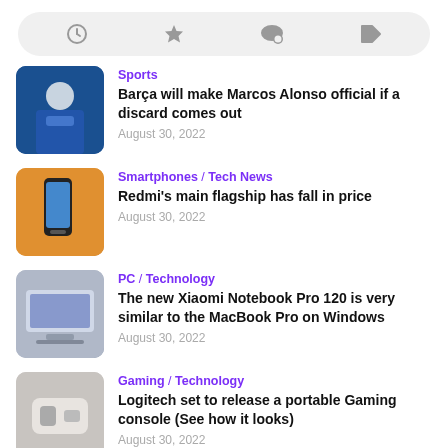[Figure (screenshot): Navigation/filter bar with icons: clock, star, chat bubble, tag]
Sports | Barça will make Marcos Alonso official if a discard comes out | August 30, 2022
Smartphones / Tech News | Redmi's main flagship has fall in price | August 30, 2022
PC / Technology | The new Xiaomi Notebook Pro 120 is very similar to the MacBook Pro on Windows | August 30, 2022
Gaming / Technology | Logitech set to release a portable Gaming console (See how it looks) | August 30, 2022
Tech News / Technology